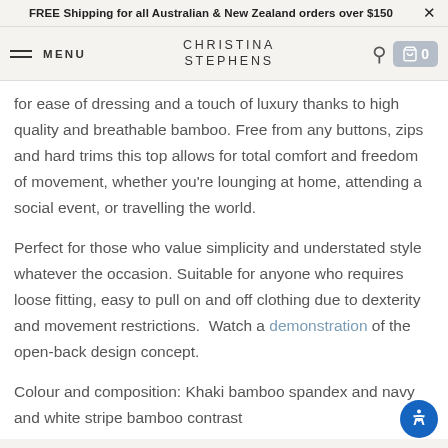FREE Shipping for all Australian & New Zealand orders over $150  ×
MENU  CHRISTINA STEPHENS  [search] [cart] 0
for ease of dressing and a touch of luxury thanks to high quality and breathable bamboo. Free from any buttons, zips and hard trims this top allows for total comfort and freedom of movement, whether you're lounging at home, attending a social event, or travelling the world.
Perfect for those who value simplicity and understated style whatever the occasion. Suitable for anyone who requires loose fitting, easy to pull on and off clothing due to dexterity and movement restrictions.  Watch a demonstration of the open-back design concept.
Colour and composition: Khaki bamboo spandex and navy and white stripe bamboo contrast